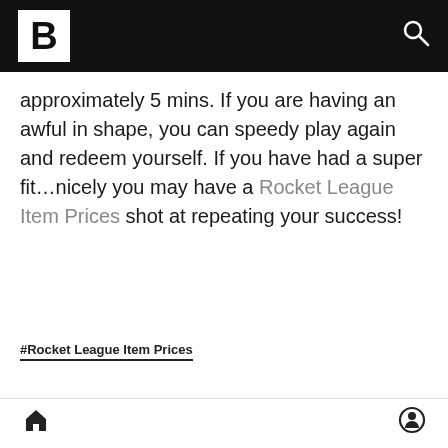B [logo] [search icon]
approximately 5 mins. If you are having an awful in shape, you can speedy play again and redeem yourself. If you have had a super fit…nicely you may have a Rocket League Item Prices shot at repeating your success!
#Rocket League Item Prices
rockrtzxc124
89 Blog posts
[home icon] [user icon]